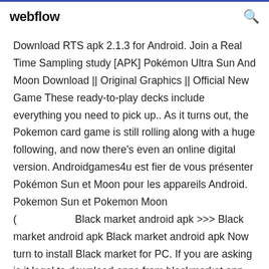webflow
Download RTS apk 2.1.3 for Android. Join a Real Time Sampling study [APK] Pokémon Ultra Sun And Moon Download || Original Graphics || Official New Game These ready-to-play decks include everything you need to pick up.. As it turns out, the Pokemon card game is still rolling along with a huge following, and now there's even an online digital version. Androidgames4u est fier de vous présenter Pokémon Sun et Moon pour les appareils Android. Pokemon Sun et Pokemon Moon (                    Black market android apk >>> Black market android apk Black market android apk Now turn to install Black market for PC. If you are asking is it legal to download apps from blackmarket app...